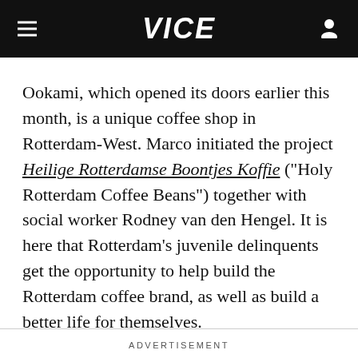VICE
Ookami, which opened its doors earlier this month, is a unique coffee shop in Rotterdam-West. Marco initiated the project Heilige Rotterdamse Boontjes Koffie ("Holy Rotterdam Coffee Beans") together with social worker Rodney van den Hengel. It is here that Rotterdam's juvenile delinquents get the opportunity to help build the Rotterdam coffee brand, as well as build a better life for themselves.
ADVERTISEMENT